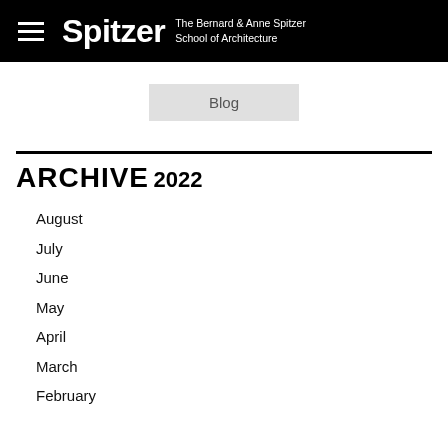Spitzer The Bernard & Anne Spitzer School of Architecture
Blog
ARCHIVE
2022
August
July
June
May
April
March
February